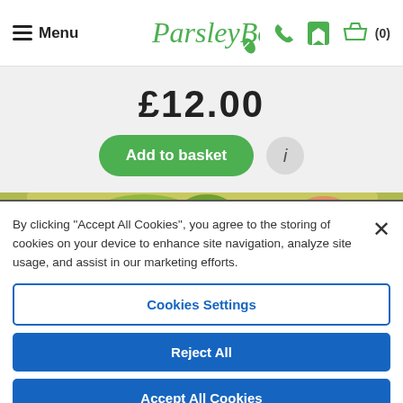Menu | ParsleyBox | (0)
£12.00
Add to basket
[Figure (photo): Food image strip showing a dish with greenery and colorful ingredients]
By clicking “Accept All Cookies”, you agree to the storing of cookies on your device to enhance site navigation, analyze site usage, and assist in our marketing efforts.
Cookies Settings
Reject All
Accept All Cookies